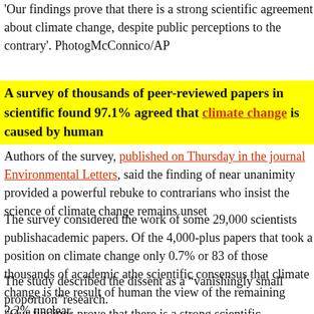'Our findings prove that there is a strong scientific agreement about climate change, despite public perceptions to the contrary'. Photo: McConnico/AP
A survey of thousands of peer-reviewed papers in scientific journals found 97.1% agreed that climate change is caused by human activity.
Authors of the survey, published on Thursday in the journal Environmental Letters, said the finding of near unanimity provided a powerful rebuke to contrarians who insist the science of climate change remains unsettled.
The survey considered the work of some 29,000 scientists publishing academic papers. Of the 4,000-plus papers that took a position on climate change only 0.7% or 83 of those thousands of academic articles rejected the scientific consensus that climate change is the result of human activity leaving the view of the remaining 2.2% unclear.
The study described the dissent as a “vanishingly small proportion” of climate research.
“Our findings prove that there is a strong scientific agreement abo...